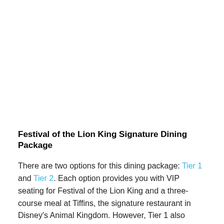Festival of the Lion King Signature Dining Package
There are two options for this dining package: Tier 1 and Tier 2. Each option provides you with VIP seating for Festival of the Lion King and a three-course meal at Tiffins, the signature restaurant in Disney's Animal Kingdom. However, Tier 1 also includes a guided safari tour, making it the more expensive option.